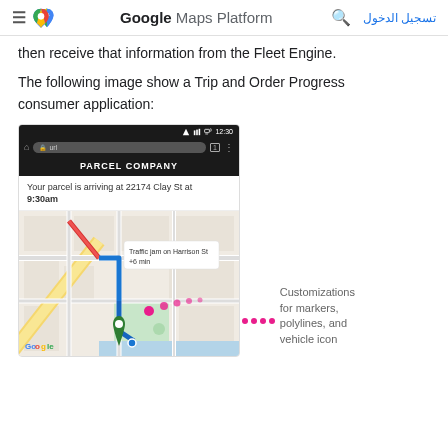Google Maps Platform  تسجيل الدخول
then receive that information from the Fleet Engine.
The following image show a Trip and Order Progress consumer application:
[Figure (screenshot): A mobile phone screenshot showing a Trip and Order Progress consumer application called 'PARCEL COMPANY'. The app shows a notification 'Your parcel is arriving at 22174 Clay St at 9:30am' and a Google Map with a route showing a traffic jam on Harrison St (+6 min), blue route, red congestion segment, a magenta circular marker, and a green destination pin. An annotation with magenta dots points to the customization features labeled 'Customizations for markers, polylines, and vehicle icon'.]